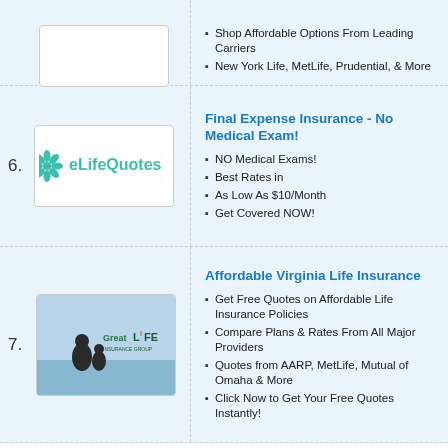[Figure (other): Partial top row showing cut-off logo box with dashed border]
Shop Affordable Options From Leading Carriers
New York Life, MetLife, Prudential, & More
[Figure (logo): eLifeQuotes logo with green leaf/flower icon and teal text]
Final Expense Insurance - No Medical Exam!
NO Medical Exams!
Best Rates in
As Low As $10/Month
Get Covered NOW!
[Figure (photo): GreatLife Insurance Group banner with family silhouette and logo]
Affordable Virginia Life Insurance
Get Free Quotes on Affordable Life Insurance Policies
Compare Plans & Rates From All Major Providers
Quotes from AARP, MetLife, Mutual of Omaha & More
Click Now to Get Your Free Quotes Instantly!